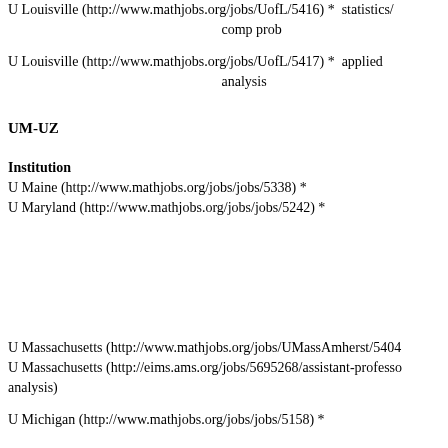U Louisville (http://www.mathjobs.org/jobs/UofL/5416) *  statistics/comp prob
U Louisville (http://www.mathjobs.org/jobs/UofL/5417) *  applied analysis
UM-UZ
Institution
U Maine (http://www.mathjobs.org/jobs/jobs/5338) *
U Maryland (http://www.mathjobs.org/jobs/jobs/5242) *
U Massachusetts (http://www.mathjobs.org/jobs/UMassAmherst/5404
U Massachusetts (http://eims.ams.org/jobs/5695268/assistant-professo analysis)
U Michigan (http://www.mathjobs.org/jobs/jobs/5158) *